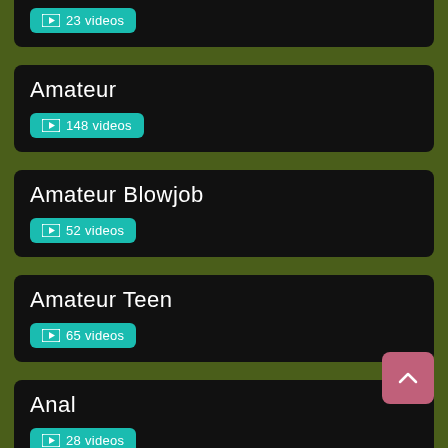23 videos
Amateur
148 videos
Amateur Blowjob
52 videos
Amateur Teen
65 videos
Anal
28 videos